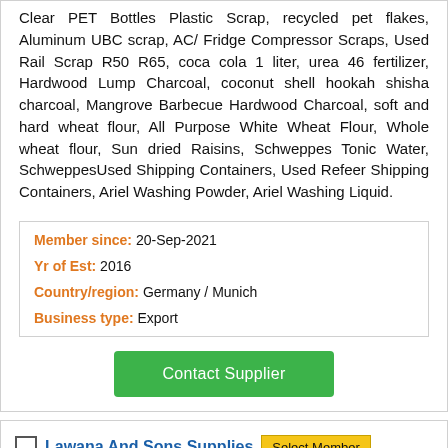Clear PET Bottles Plastic Scrap, recycled pet flakes, Aluminum UBC scrap, AC/ Fridge Compressor Scraps, Used Rail Scrap R50 R65, coca cola 1 liter, urea 46 fertilizer, Hardwood Lump Charcoal, coconut shell hookah shisha charcoal, Mangrove Barbecue Hardwood Charcoal, soft and hard wheat flour, All Purpose White Wheat Flour, Whole wheat flour, Sun dried Raisins, Schweppes Tonic Water, SchweppesUsed Shipping Containers, Used Refeer Shipping Containers, Ariel Washing Powder, Ariel Washing Liquid.
Member since: 20-Sep-2021
Yr of Est: 2016
Country/region: Germany / Munich
Business type: Export
Contact Supplier
Lawana And Sons Supplies
Select Member
Exporter from South Africa
Dried Fruits : Dates